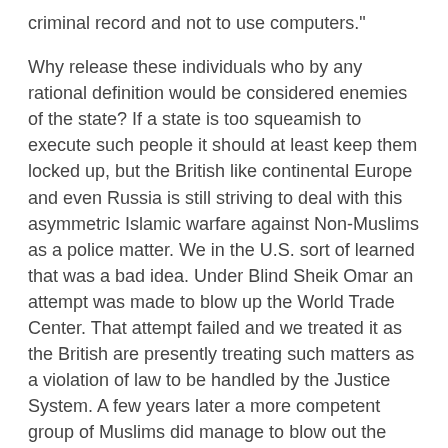criminal record and not to use computers."
Why release these individuals who by any rational definition would be considered enemies of the state? If a state is too squeamish to execute such people it should at least keep them locked up, but the British like continental Europe and even Russia is still striving to deal with this asymmetric Islamic warfare against Non-Muslims as a police matter. We in the U.S. sort of learned that was a bad idea. Under Blind Sheik Omar an attempt was made to blow up the World Trade Center. That attempt failed and we treated it as the British are presently treating such matters as a violation of law to be handled by the Justice System. A few years later a more competent group of Muslims did manage to blow out the World Trade Center. It was impossible to treat that attack as a mere violation of law; so we threw our weight around in a military manner for awhile.
Interestingly, our military response to 9-11 may end up being no more effective than Britain's treating Terrorists as normal criminals. We have invaded Afghanistan and Iraq but inasmuch as there is no hope or even plans for converting